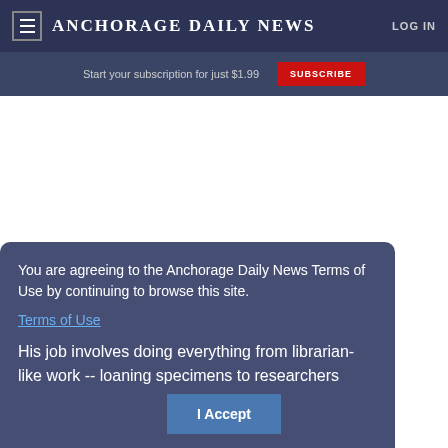Anchorage Daily News | LOG IN
Start your subscription for just $1.99 | SUBSCRIBE
You are agreeing to the Anchorage Daily News Terms of Use by continuing to browse this site.
Terms of Use
His job involves doing everything from librarian-like work -- loaning specimens to researchers
I Accept